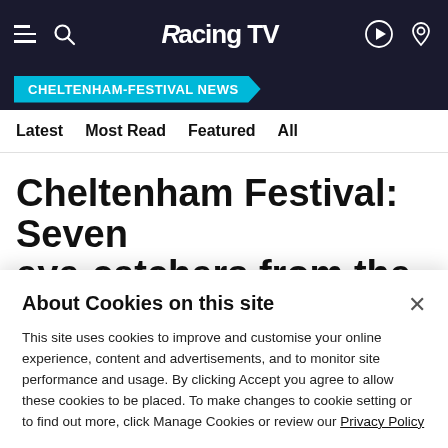Racing TV
CHELTENHAM-FESTIVAL NEWS
Latest   Most Read   Featured   All
Cheltenham Festival: Seven eye-catchers from the
About Cookies on this site
This site uses cookies to improve and customise your online experience, content and advertisements, and to monitor site performance and usage. By clicking Accept you agree to allow these cookies to be placed. To make changes to cookie setting or to find out more, click Manage Cookies or review our Privacy Policy
Manage Cookies   Accept All Cookies